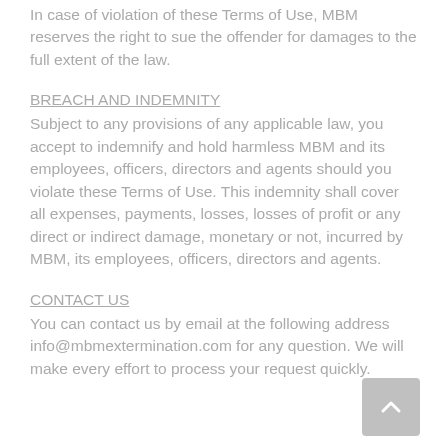In case of violation of these Terms of Use, MBM reserves the right to sue the offender for damages to the full extent of the law.
BREACH AND INDEMNITY
Subject to any provisions of any applicable law, you accept to indemnify and hold harmless MBM and its employees, officers, directors and agents should you violate these Terms of Use. This indemnity shall cover all expenses, payments, losses, losses of profit or any direct or indirect damage, monetary or not, incurred by MBM, its employees, officers, directors and agents.
CONTACT US
You can contact us by email at the following address info@mbmextermination.com for any question. We will make every effort to process your request quickly.